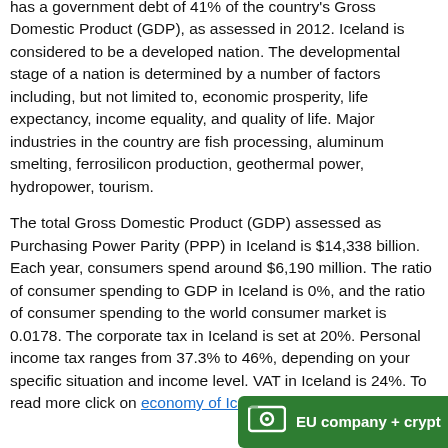has a government debt of 41% of the country's Gross Domestic Product (GDP), as assessed in 2012. Iceland is considered to be a developed nation. The developmental stage of a nation is determined by a number of factors including, but not limited to, economic prosperity, life expectancy, income equality, and quality of life. Major industries in the country are fish processing, aluminum smelting, ferrosilicon production, geothermal power, hydropower, tourism.
The total Gross Domestic Product (GDP) assessed as Purchasing Power Parity (PPP) in Iceland is $14,338 billion. Each year, consumers spend around $6,190 million. The ratio of consumer spending to GDP in Iceland is 0%, and the ratio of consumer spending to the world consumer market is 0.0178. The corporate tax in Iceland is set at 20%. Personal income tax ranges from 37.3% to 46%, depending on your specific situation and income level. VAT in Iceland is 24%. To read more click on economy of Iceland.